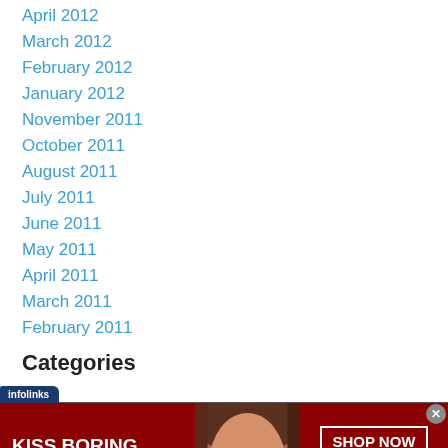April 2012
March 2012
February 2012
January 2012
November 2011
October 2011
August 2011
July 2011
June 2011
May 2011
April 2011
March 2011
February 2011
Categories
[Figure (screenshot): Macy's advertisement banner: KISS BORING LIPS GOODBYE with SHOP NOW button and macy's star logo on dark red background, with infolinks tab and close button]